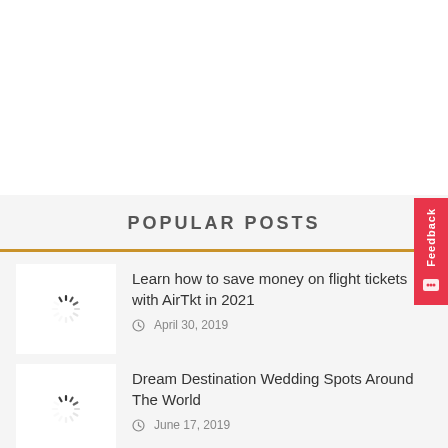POPULAR POSTS
Learn how to save money on flight tickets with AirTkt in 2021 — April 30, 2019
Dream Destination Wedding Spots Around The World — June 17, 2019